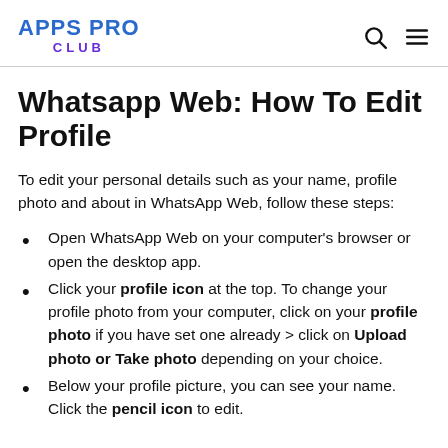APPS PRO CLUB
Whatsapp Web: How To Edit Profile
To edit your personal details such as your name, profile photo and about in WhatsApp Web, follow these steps:
Open WhatsApp Web on your computer's browser or open the desktop app.
Click your profile icon at the top. To change your profile photo from your computer, click on your profile photo if you have set one already > click on Upload photo or Take photo depending on your choice.
Below your profile picture, you can see your name. Click the pencil icon to edit.